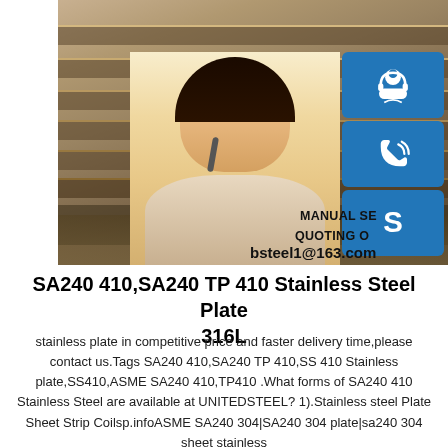[Figure (photo): Left: stacked steel plates/sheets in outdoor setting. Right: smiling woman with headset (customer service). Right side panels: three blue icon boxes with headset/person icon, phone icon, Skype icon. Overlaid text: MANUAL SE... / QUOTING O... / bsteel1@163.com]
SA240 410,SA240 TP 410 Stainless ... 316L
stainless plate in competitive price and faster delivery time,please contact us.Tags SA240 410,SA240 TP 410,SS 410 Stainless plate,SS410,ASME SA240 410,TP410 .What forms of SA240 410 Stainless Steel are available at UNITEDSTEEL? 1).Stainless steel Plate Sheet Strip Coilsp.infoASME SA240 304|SA240 304 plate|sa240 304 sheet stainless